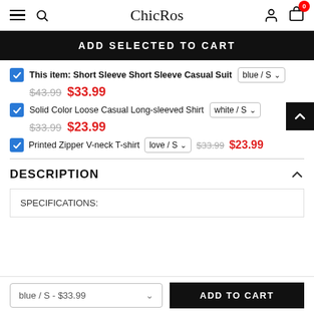ChicRos
ADD SELECTED TO CART
This item: Short Sleeve Short Sleeve Casual Suit  blue / S  $43.99  $33.99
Solid Color Loose Casual Long-sleeved Shirt  white / S  $33.99  $23.99
Printed Zipper V-neck T-shirt  love / S  $33.99  $23.99
DESCRIPTION
SPECIFICATIONS:
blue / S - $33.99  ADD TO CART